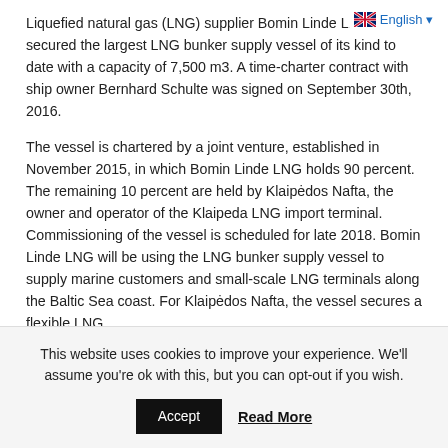Liquefied natural gas (LNG) supplier Bomin Linde LNG has secured the largest LNG bunker supply vessel of its kind to date with a capacity of 7,500 m3.  A time-charter contract with ship owner Bernhard Schulte was signed on September 30th, 2016.
The vessel is chartered by a joint venture, established in November 2015, in which Bomin Linde LNG holds 90 percent.  The remaining 10 percent are held by Klaipėdos Nafta, the owner and operator of the Klaipeda LNG import terminal.  Commissioning of the vessel is scheduled for late 2018.  Bomin Linde LNG will be using the LNG bunker supply vessel to supply marine customers and small-scale LNG terminals along the Baltic Sea coast.  For Klaipėdos Nafta, the vessel secures a flexible LNG...
This website uses cookies to improve your experience. We'll assume you're ok with this, but you can opt-out if you wish.
Accept  Read More